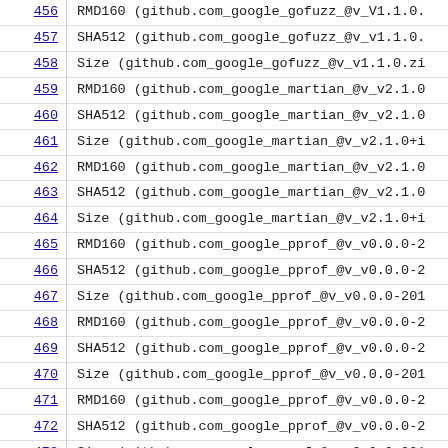| # | Content |
| --- | --- |
| 456 | RMD160 (github.com_google_gofuzz_@v_V1.1.0. |
| 457 | SHA512 (github.com_google_gofuzz_@v_v1.1.0. |
| 458 | Size (github.com_google_gofuzz_@v_v1.1.0.zi |
| 459 | RMD160 (github.com_google_martian_@v_v2.1.0 |
| 460 | SHA512 (github.com_google_martian_@v_v2.1.0 |
| 461 | Size (github.com_google_martian_@v_v2.1.0+i |
| 462 | RMD160 (github.com_google_martian_@v_v2.1.0 |
| 463 | SHA512 (github.com_google_martian_@v_v2.1.0 |
| 464 | Size (github.com_google_martian_@v_v2.1.0+i |
| 465 | RMD160 (github.com_google_pprof_@v_v0.0.0-2 |
| 466 | SHA512 (github.com_google_pprof_@v_v0.0.0-2 |
| 467 | Size (github.com_google_pprof_@v_v0.0.0-201 |
| 468 | RMD160 (github.com_google_pprof_@v_v0.0.0-2 |
| 469 | SHA512 (github.com_google_pprof_@v_v0.0.0-2 |
| 470 | Size (github.com_google_pprof_@v_v0.0.0-201 |
| 471 | RMD160 (github.com_google_pprof_@v_v0.0.0-2 |
| 472 | SHA512 (github.com_google_pprof_@v_v0.0.0-2 |
| 473 | Size (github.com_google_pprof_@v_v0.0.0-201 |
| 474 | RMD160 (github.com_google_pprof_@v_v0.0.0-2 |
| 475 | SHA512 (github.com_google_pprof_@v_v0.0.0-2 |
| 476 | Size (github.com_google_pprof_@v_v0.0.0-202 |
| 477 | RMD160 (github.com_google_pprof_@v_v0.0.0-2 |